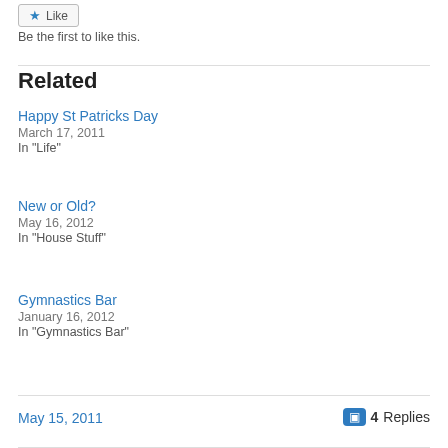Be the first to like this.
Related
Happy St Patricks Day
March 17, 2011
In "Life"
New or Old?
May 16, 2012
In "House Stuff"
Gymnastics Bar
January 16, 2012
In "Gymnastics Bar"
May 15, 2011
4 Replies